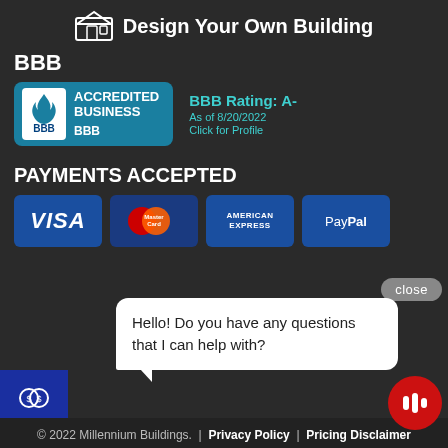Design Your Own Building
BBB
[Figure (logo): BBB Accredited Business badge with teal background and flame logo]
BBB Rating: A-
As of 8/20/2022
Click for Profile
PAYMENTS ACCEPTED
[Figure (logo): Payment method logos: VISA, MasterCard, American Express, PayPal]
close
Hello! Do you have any questions that I can help with?
© 2022 Millennium Buildings.  |  Privacy Policy  |  Pricing Disclaimer